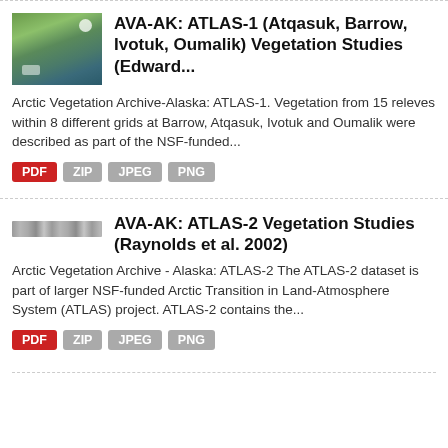[Figure (photo): Satellite/aerial image of Arctic tundra coastline showing green and brown land with water]
AVA-AK: ATLAS-1 (Atqasuk, Barrow, Ivotuk, Oumalik) Vegetation Studies (Edward...
Arctic Vegetation Archive-Alaska: ATLAS-1. Vegetation from 15 releves within 8 different grids at Barrow, Atqasuk, Ivotuk and Oumalik were described as part of the NSF-funded...
PDF  ZIP  JPEG  PNG
[Figure (photo): Small thumbnail image showing a narrow horizontal strip, appears to be a landscape or map image]
AVA-AK: ATLAS-2 Vegetation Studies (Raynolds et al. 2002)
Arctic Vegetation Archive - Alaska: ATLAS-2 The ATLAS-2 dataset is part of larger NSF-funded Arctic Transition in Land-Atmosphere System (ATLAS) project. ATLAS-2 contains the...
PDF  ZIP  JPEG  PNG